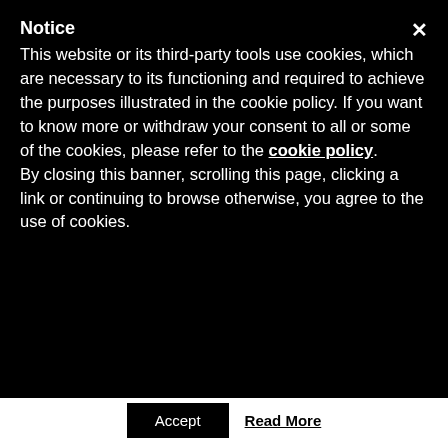Notice
This website or its third-party tools use cookies, which are necessary to its functioning and required to achieve the purposes illustrated in the cookie policy. If you want to know more or withdraw your consent to all or some of the cookies, please refer to the cookie policy. By closing this banner, scrolling this page, clicking a link or continuing to browse otherwise, you agree to the use of cookies.
holding thousands of non gtld's, you don't really think the .com'rs are just going to give up do you?
Charles
Reply
nic0
This website uses cookies to improve your experience. We'll assume you're ok with this, but you can opt-out if you wish.
Accept
Read More